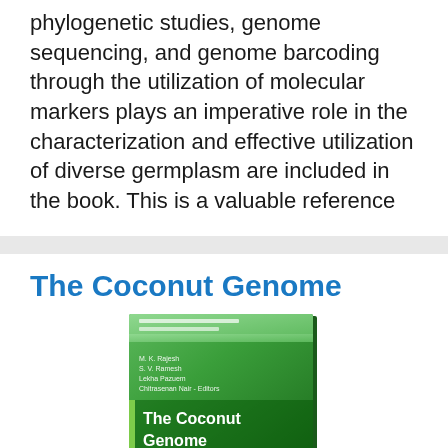phylogenetic studies, genome sequencing, and genome barcoding through the utilization of molecular markers plays an imperative role in the characterization and effective utilization of diverse germplasm are included in the book. This is a valuable reference
The Coconut Genome
[Figure (photo): Book cover of 'The Coconut Genome' with green gradient background, showing author names and title text]